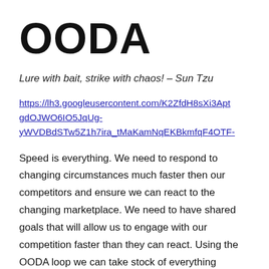OODA
Lure with bait, strike with chaos! – Sun Tzu
https://lh3.googleusercontent.com/K2ZfdH8sXi3AptgdOJWO6IO5JqUg-yWVDBdSTw5Z1h7ira_tMaKamNqEKBkmfqF4OTF-
Speed is everything. We need to respond to changing circumstances much faster then our competitors and ensure we can react to the changing marketplace. We need to have shared goals that will allow us to engage with our competition faster than they can react. Using the OODA loop we can take stock of everything